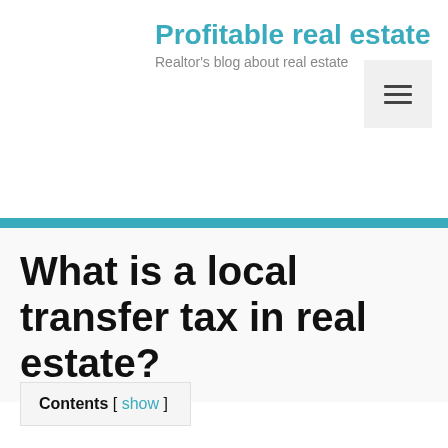Profitable real estate
Realtor's blog about real estate
[Figure (other): Hamburger menu button icon in a light gray square, top right corner]
≡ Menu
What is a local transfer tax in real estate?
Contents [ show ]